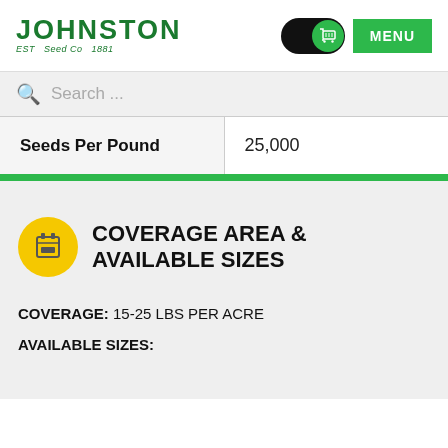[Figure (logo): Johnston Seed Co logo in green]
[Figure (illustration): Green cart button and MENU button in header]
Search ...
| Seeds Per Pound | 25,000 |
| --- | --- |
COVERAGE AREA & AVAILABLE SIZES
COVERAGE: 15-25 LBS PER ACRE
AVAILABLE SIZES: